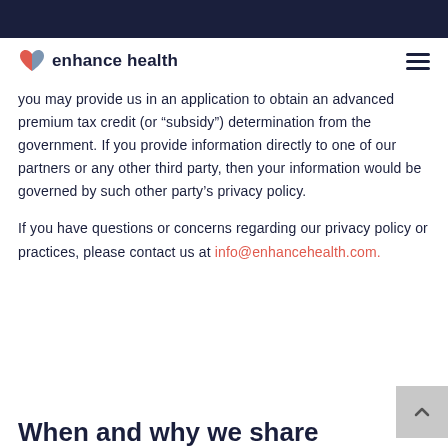enhance health
you may provide us in an application to obtain an advanced premium tax credit (or “subsidy”) determination from the government. If you provide information directly to one of our partners or any other third party, then your information would be governed by such other party’s privacy policy.
If you have questions or concerns regarding our privacy policy or practices, please contact us at info@enhancehealth.com.
When and why we share